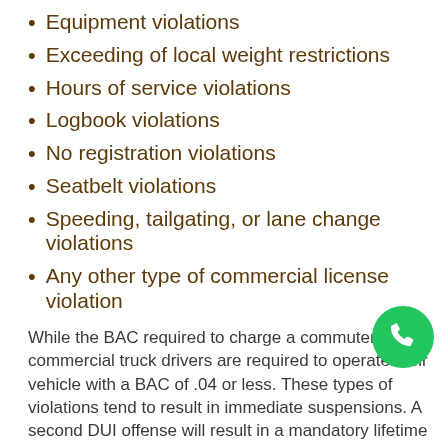Equipment violations
Exceeding of local weight restrictions
Hours of service violations
Logbook violations
No registration violations
Seatbelt violations
Speeding, tailgating, or lane change violations
Any other type of commercial license violation
While the BAC required to charge a commuter is .08, commercial truck drivers are required to operate their vehicle with a BAC of .04 or less. These types of violations tend to result in immediate suspensions. A second DUI offense will result in a mandatory lifetime suspension of your CDL.
License Suspension